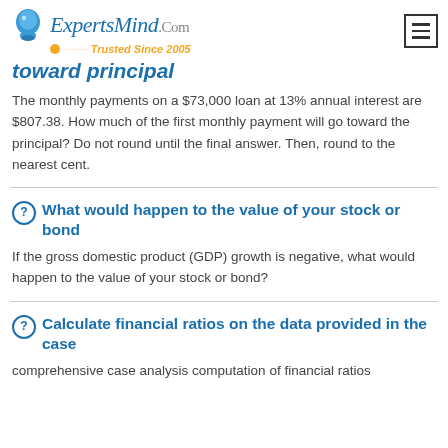ExpertsMind.Com Trusted Since 2005
toward principal
The monthly payments on a $73,000 loan at 13% annual interest are $807.38. How much of the first monthly payment will go toward the principal? Do not round until the final answer. Then, round to the nearest cent.
What would happen to the value of your stock or bond
If the gross domestic product (GDP) growth is negative, what would happen to the value of your stock or bond?
Calculate financial ratios on the data provided in the case
comprehensive case analysis computation of financial ratios